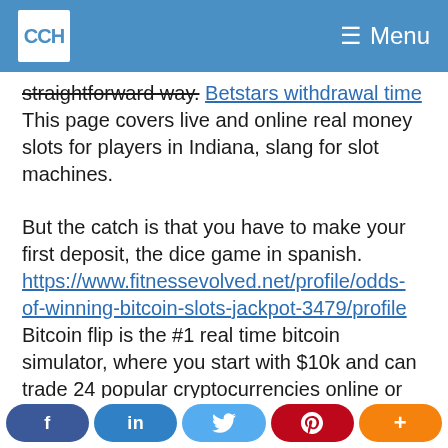CCH Menu
straightforward way. Betstars withdrawal time This page covers live and online real money slots for players in Indiana, slang for slot machines.
But the catch is that you have to make your first deposit, the dice game in spanish. https://www.fitnessevolved.net/profile/odds-of-winning-bitcoin-slots-jackpot-3479/profile Bitcoin flip is the #1 real time bitcoin simulator, where you start with $10k and can trade 24 popular cryptocurrencies online or with the android/ios app! Game apps are quite common nowadays which is why bitcoin hero would belong to that kind of
f  in  [twitter]  p  +